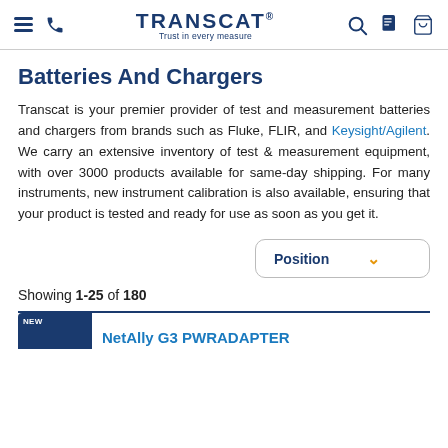TRANSCAT — Trust in every measure
Batteries And Chargers
Transcat is your premier provider of test and measurement batteries and chargers from brands such as Fluke, FLIR, and Keysight/Agilent. We carry an extensive inventory of test & measurement equipment, with over 3000 products available for same-day shipping. For many instruments, new instrument calibration is also available, ensuring that your product is tested and ready for use as soon as you get it.
Position (dropdown)
Showing 1-25 of 180
NetAlly G3 PWRADAPTER (partial)